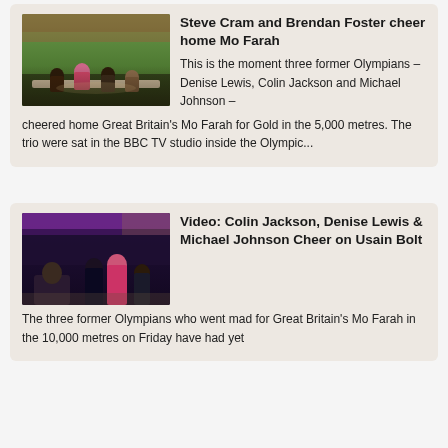[Figure (photo): Photo of people sitting around a table in a TV studio with a sports stadium visible in the background]
Steve Cram and Brendan Foster cheer home Mo Farah
This is the moment three former Olympians – Denise Lewis, Colin Jackson and Michael Johnson – cheered home Great Britain's Mo Farah for Gold in the 5,000 metres. The trio were sat in the BBC TV studio inside the Olympic...
[Figure (photo): Photo of people sitting in a darkened TV studio with purple lighting visible in background]
Video: Colin Jackson, Denise Lewis & Michael Johnson Cheer on Usain Bolt
The three former Olympians who went mad for Great Britain's Mo Farah in the 10,000 metres on Friday have had yet